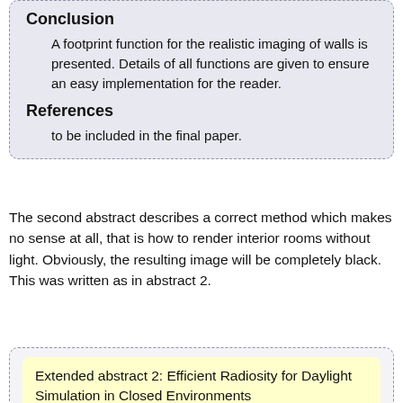Conclusion
A footprint function for the realistic imaging of walls is presented. Details of all functions are given to ensure an easy implementation for the reader.
References
to be included in the final paper.
The second abstract describes a correct method which makes no sense at all, that is how to render interior rooms without light. Obviously, the resulting image will be completely black. This was written as in abstract 2.
Extended abstract 2: Efficient Radiosity for Daylight Simulation in Closed Environments